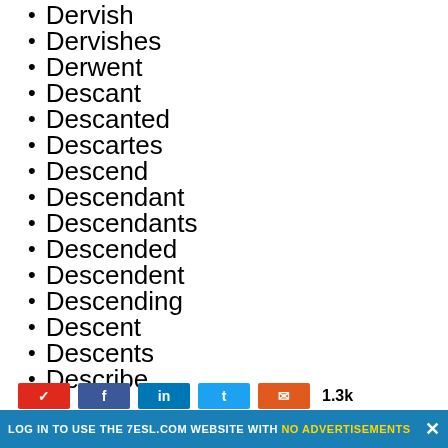Dervish
Dervishes
Derwent
Descant
Descanted
Descartes
Descend
Descendant
Descendants
Descended
Descendent
Descending
Descent
Descents
Describe
Described
LOG IN TO USE THE 7ESL.COM WEBSITE WITH NO ADVERTISEMENTS